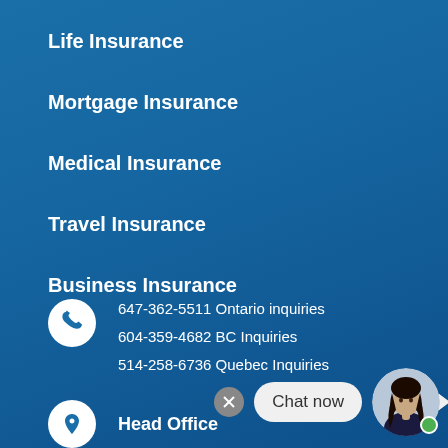Life Insurance
Mortgage Insurance
Medical Insurance
Travel Insurance
Business Insurance
647-362-5511 Ontario inquiries
604-359-4682 BC Inquiries
514-258-6736 Quebec Inquiries
Head Office
[Figure (illustration): Chat now bubble with close button and female avatar with green online indicator]